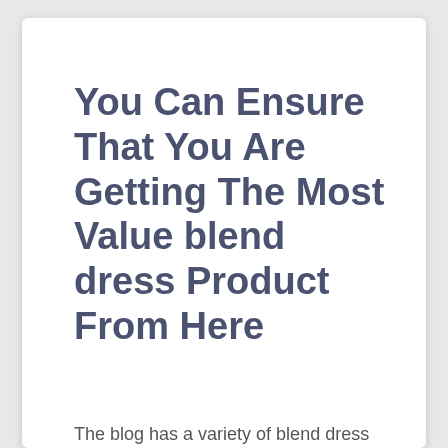You Can Ensure That You Are Getting The Most Value blend dress Product From Here
The blog has a variety of blend dress